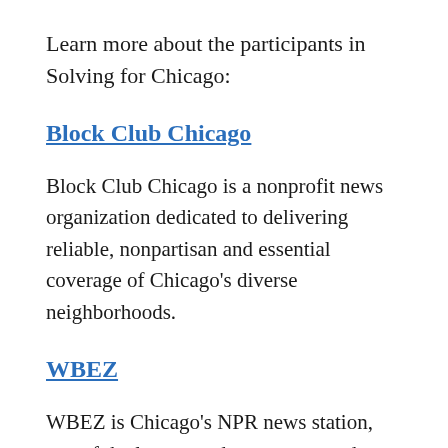Learn more about the participants in Solving for Chicago:
Block Club Chicago
Block Club Chicago is a nonprofit news organization dedicated to delivering reliable, nonpartisan and essential coverage of Chicago's diverse neighborhoods.
WBEZ
WBEZ is Chicago's NPR news station, one of the largest and most respected public media stations in the country. WBEZ was established